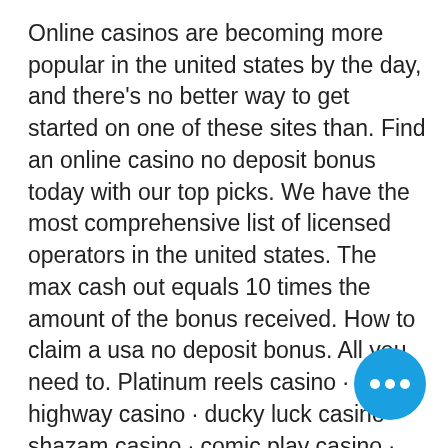Online casinos are becoming more popular in the united states by the day, and there's no better way to get started on one of these sites than. Find an online casino no deposit bonus today with our top picks. We have the most comprehensive list of licensed operators in the united states. The max cash out equals 10 times the amount of the bonus received. How to claim a usa no deposit bonus. All you need to. Platinum reels casino · highway casino · ducky luck casino · shazam casino · comic play casino · sloto stars casino · lucky tiger casino · new. Not sure how to claim a no deposit casino bonus? the best online casinos make the process simple for you. You'll follow the same steps at most sites. Get nj no deposit bonus codes, nj online casino promo codes, and new jersey online casino bonus codes for free money at all online casinos. No deposit bonus: a no deposit bonus is when
[Figure (other): Blue circular button with three white dots (ellipsis/more options icon)]